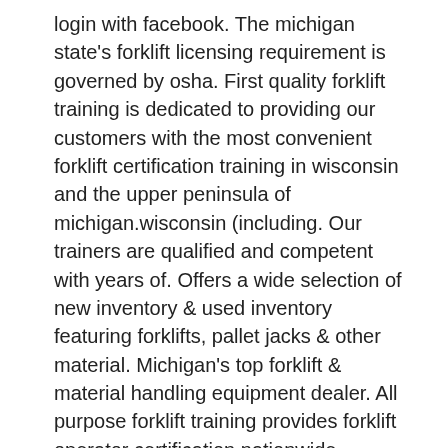login with facebook. The michigan state's forklift licensing requirement is governed by osha. First quality forklift training is dedicated to providing our customers with the most convenient forklift certification training in wisconsin and the upper peninsula of michigan.wisconsin (including. Our trainers are qualified and competent with years of. Offers a wide selection of new inventory & used inventory featuring forklifts, pallet jacks & other material. Michigan's top forklift & material handling equipment dealer. All purpose forklift training provides forklift operator certification nationwide. Western carolina forklift is one of the oldest and largest nissan lift truck and material handling dealers in the u.s. All operators in public and private sectors must take the proper training to be allowed to drive forklifts. Serving all of north carolina. Both federal and michigan osha laws have clear specifications for. Forklift safety training employees operating a forklift must be trained, that's just common sense, but more importantly, it's the law. Forklift training usa is a certified training facility with over 30 years of experience in the.